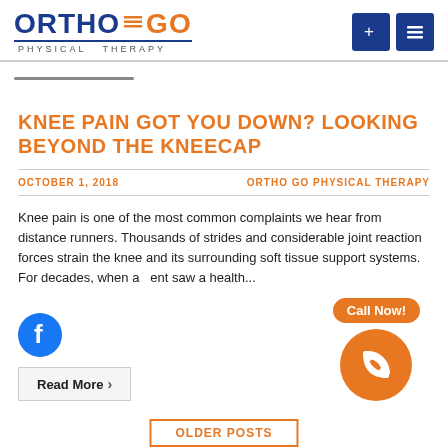[Figure (logo): OrthoGo Physical Therapy logo with blue and orange text and navigation buttons]
KNEE PAIN GOT YOU DOWN? LOOKING BEYOND THE KNEECAP
OCTOBER 1, 2018 | ORTHO GO PHYSICAL THERAPY
Knee pain is one of the most common complaints we hear from distance runners. Thousands of strides and considerable joint reaction forces strain the knee and its surrounding soft tissue support systems. For decades, when a patient saw a health...
[Figure (logo): Facebook icon circle]
Read More >
[Figure (infographic): Call Now! button with phone icon in orange circle]
OLDER POSTS